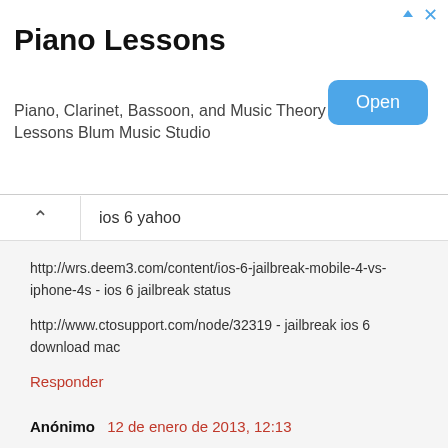[Figure (screenshot): Advertisement banner for Piano Lessons - Blum Music Studio with an Open button]
ios 6 yahoo
http://wrs.deem3.com/content/ios-6-jailbreak-mobile-4-vs-iphone-4s - ios 6 jailbreak status
http://www.ctosupport.com/node/32319 - jailbreak ios 6 download mac
Responder
Anónimo  12 de enero de 2013, 12:13
[url=http://www.ctb.paulwicks.com/node/25820    ]jailbreak ios 6 ipad 2
[/url]
[url=http://www.samaritanministry.org/content/ios-6-jailbreak-untethered-tips-turn-personal-iphone-absolute-desktop-pc ]ios 6 jailbreak theme
[/url]
[url=http://unage.com/default/node/118500 ]jailbreak ios 6 jailbreakme.com